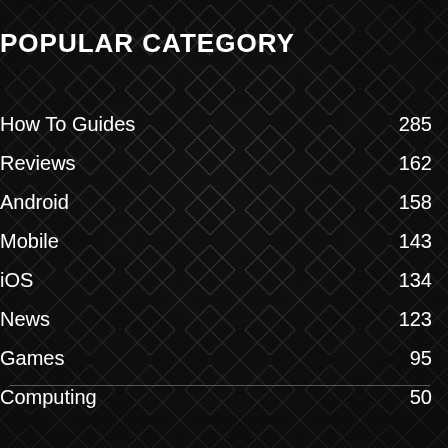POPULAR CATEGORY
How To Guides    285
Reviews    162
Android    158
Mobile    143
iOS    134
News    123
Games    95
Computing    50